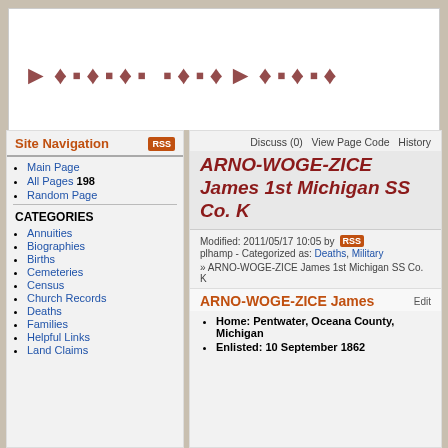[Figure (logo): Website header banner with stylized text logo in dark red/maroon color on white background, partially visible]
Site Navigation
Main Page
All Pages 198
Random Page
CATEGORIES
Annuities
Biographies
Births
Cemeteries
Census
Church Records
Deaths
Families
Helpful Links
Land Claims
Discuss (0)   View Page Code   History
ARNO-WOGE-ZICE James 1st Michigan SS Co. K
Modified: 2011/05/17 10:05 by plhamp - Categorized as: Deaths, Military
» ARNO-WOGE-ZICE James 1st Michigan SS Co. K
ARNO-WOGE-ZICE James
Home: Pentwater, Oceana County, Michigan
Enlisted: 10 September 1862